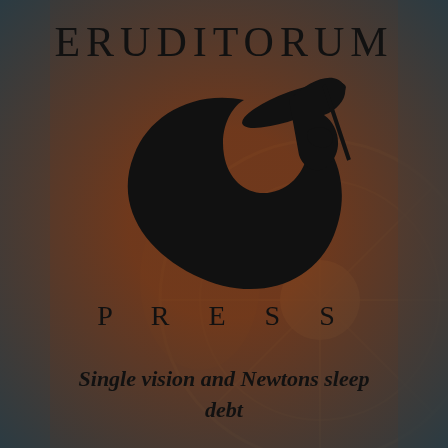[Figure (logo): Eruditorum Press logo: stylized EP monogram with sweeping calligraphic letters on a dark reddish-brown background with antique illustration overlay]
ERUDITORUM
P R E S S
Single vision and Newtons sleep debt